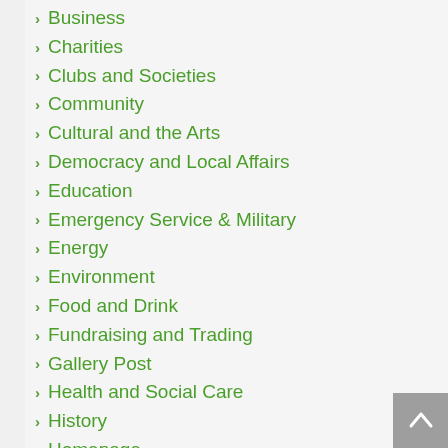Business
Charities
Clubs and Societies
Community
Cultural and the Arts
Democracy and Local Affairs
Education
Emergency Service & Military
Energy
Environment
Food and Drink
Fundraising and Trading
Gallery Post
Health and Social Care
History
Homepage
Homepage Images